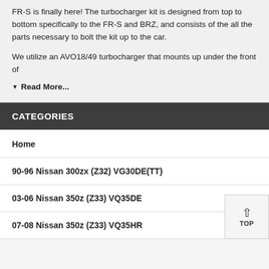FR-S is finally here! The turbocharger kit is designed from top to bottom specifically to the FR-S and BRZ, and consists of the all the parts necessary to bolt the kit up to the car.
We utilize an AVO18/49 turbocharger that mounts up under the front of
▼ Read More...
CATEGORIES
Home
90-96 Nissan 300zx (Z32) VG30DE(TT)
03-06 Nissan 350z (Z33) VQ35DE
07-08 Nissan 350z (Z33) VQ35HR